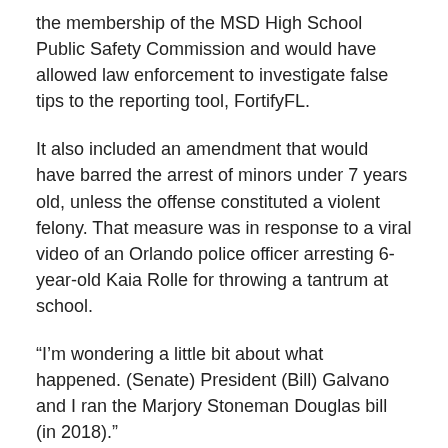the membership of the MSD High School Public Safety Commission and would have allowed law enforcement to investigate false tips to the reporting tool, FortifyFL.
It also included an amendment that would have barred the arrest of minors under 7 years old, unless the offense constituted a violent felony. That measure was in response to a viral video of an Orlando police officer arresting 6-year-old Kaia Rolle for throwing a tantrum at school.
“I’m wondering a little bit about what happened. (Senate) President (Bill) Galvano and I ran the Marjory Stoneman Douglas bill (in 2018).”